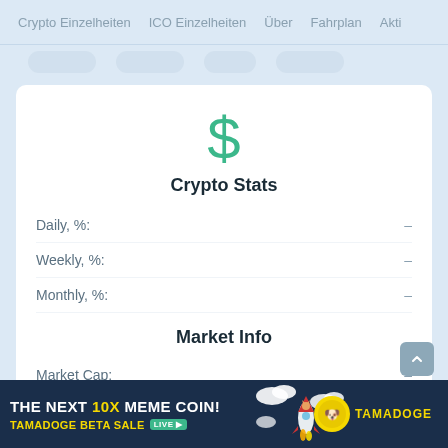Crypto Einzelheiten  ICO Einzelheiten  Über  Fahrplan  Akti
Crypto Stats
|  |  |
| --- | --- |
| Daily, %: | – |
| Weekly, %: | – |
| Monthly, %: | – |
Market Info
|  |  |
| --- | --- |
| Market Cap: | – |
| Volume 24h: | – |
[Figure (screenshot): Advertisement banner for Tamadoge: THE NEXT 10X MEME COIN! TAMADOGE BETA SALE LIVE with Tamadoge logo and rocket illustration on dark blue background]